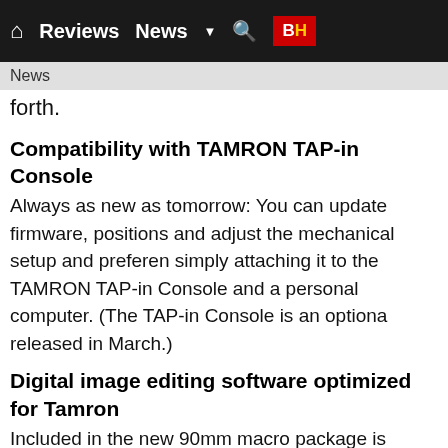Reviews  News  BH
News
forth.
Compatibility with TAMRON TAP-in Console
Always as new as tomorrow: You can update firmware, positions and adjust the mechanical setup and preferences simply attaching it to the TAMRON TAP-in Console and a personal computer. (The TAP-in Console is an optional released in March.)
Digital image editing software optimized for Tamron
Included in the new 90mm macro package is SILKYPIX popular RAW conversion and editing program preloaded for various aberrations based on the optical data that pe Tamron's SP Series lenses. In addition, lens profile infor supplied to Adobe Systems, Inc. to facilitate selecting th required for more sophisticated adjustments in RAW pro